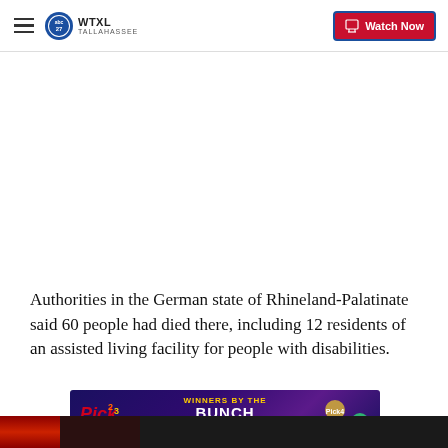WTXL TALLAHASSEE — Watch Now
Authorities in the German state of Rhineland-Palatinate said 60 people had died there, including 12 residents of an assisted living facility for people with disabilities.
[Figure (photo): Banner advertisement for Pick lottery: 'Winners by the Bunch – Learn More' on purple background with lottery ball graphics]
[Figure (photo): Bottom image strip showing dark background, partial view of red candles or torch]